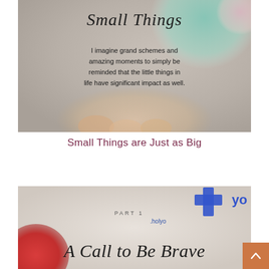[Figure (photo): Decorative image with blurred background showing colorful macarons or similar items, with overlaid italic cursive text 'Small Things' as heading and a quote: 'I imagine grand schemes and amazing moments to simply be reminded that the little things in life have significant impact as well.']
Small Things are Just as Big
[Figure (photo): Photo of a printed book or pamphlet with 'PART 1' text above italic cursive title 'A Call to Be Brave' with a red heart shape on the left and a blue cross logo and 'www.holyyou' URL visible in the top right corner.]